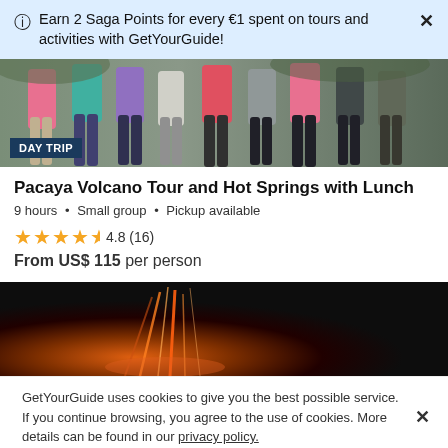Earn 2 Saga Points for every €1 spent on tours and activities with GetYourGuide!
[Figure (photo): Group of people standing outdoors on a path, from the waist down, with a DAY TRIP badge overlay]
Pacaya Volcano Tour and Hot Springs with Lunch
9 hours • Small group • Pickup available
4.8 (16)
From US$ 115 per person
[Figure (photo): Dark image of a volcano with glowing orange lava streaks]
GetYourGuide uses cookies to give you the best possible service. If you continue browsing, you agree to the use of cookies. More details can be found in our privacy policy.